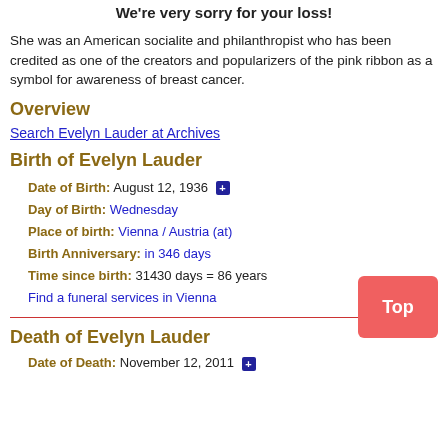We're very sorry for your loss!
She was an American socialite and philanthropist who has been credited as one of the creators and popularizers of the pink ribbon as a symbol for awareness of breast cancer.
Overview
Search Evelyn Lauder at Archives
Birth of Evelyn Lauder
Date of Birth: August 12, 1936
Day of Birth: Wednesday
Place of birth: Vienna / Austria (at)
Birth Anniversary: in 346 days
Time since birth: 31430 days = 86 years
Find a funeral services in Vienna
Death of Evelyn Lauder
Date of Death: November 12, 2011